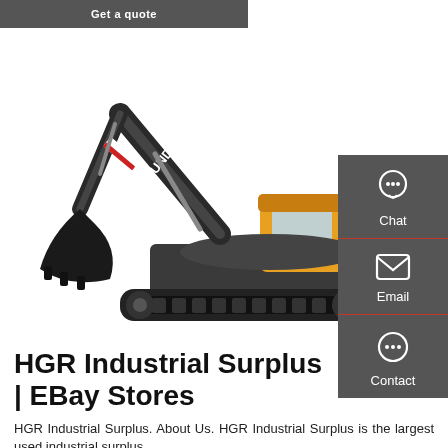[Figure (screenshot): Get a quote button bar at the top of the page]
[Figure (photo): Hyundai tracked excavator, black and yellow, on a white background]
[Figure (screenshot): Sidebar with Chat, Email, and Contact icons on dark grey background]
HGR Industrial Surplus | EBay Stores
HGR Industrial Surplus. About Us. HGR Industrial Surplus is the largest used industrial surplus